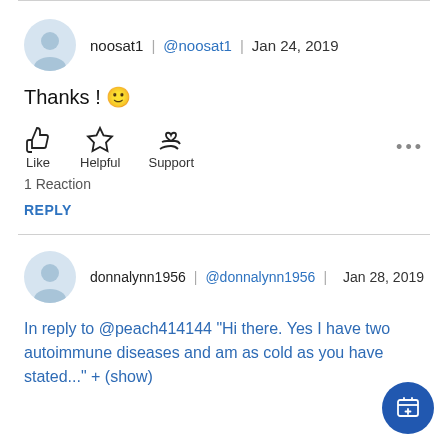noosat1 | @noosat1 | Jan 24, 2019
Thanks ! 🙂
[Figure (infographic): Like, Helpful, Support action buttons with icons (thumbs up, star, heart in hand)]
1 Reaction
REPLY
donnalynn1956 | @donnalynn1956 | Jan 28, 2019
In reply to @peach414144 "Hi there. Yes I have two autoimmune diseases and am as cold as you have stated..." + (show)